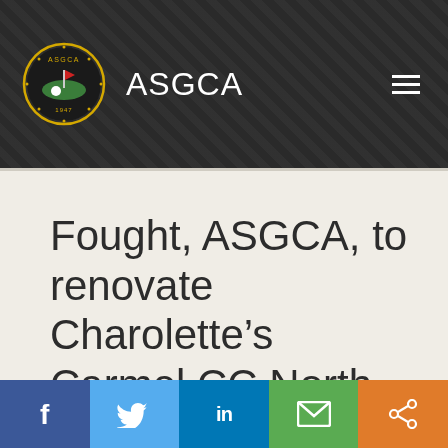ASGCA
Fought, ASGCA, to renovate Charolette's Carmel CC North Course
Oct 13, 2015 | All News
[Figure (other): Social sharing bar with Facebook, Twitter, LinkedIn, Email, and Share buttons]